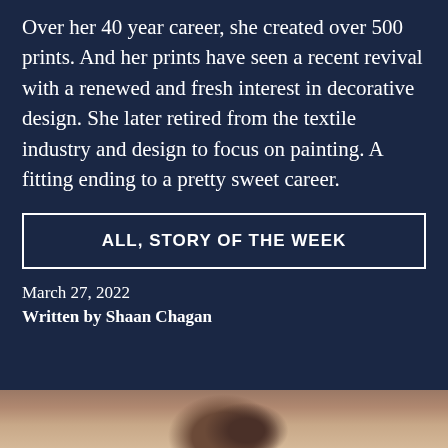Over her 40 year career, she created over 500 prints. And her prints have seen a recent revival with a renewed and fresh interest in decorative design. She later retired from the textile industry and design to focus on painting. A fitting ending to a pretty sweet career.
ALL, STORY OF THE WEEK
March 27, 2022
Written by Shaan Chagan
[Figure (photo): Partial photo strip at the bottom of the page showing what appears to be a person, cropped and mostly hidden]